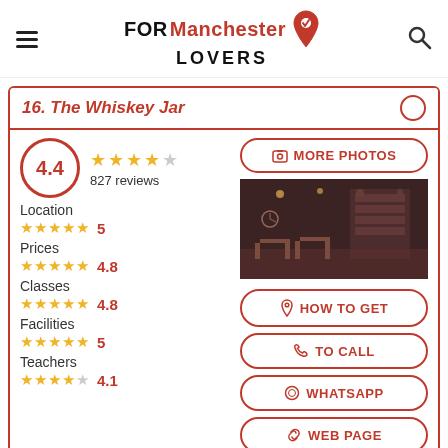FORManchester LOVERS
16. The Whiskey Jar
4.4 — 827 reviews
Location ★★★★★ 5
Prices ★★★★★ 4.8
Classes ★★★★★ 4.8
Facilities ★★★★★ 5
Teachers ★★★★☆ 4.1
[Figure (photo): Interior photo of The Whiskey Jar bar, dark atmospheric shot showing bar area with shelving]
MORE PHOTOS
HOW TO GET
TO CALL
WHATSAPP
WEB PAGE